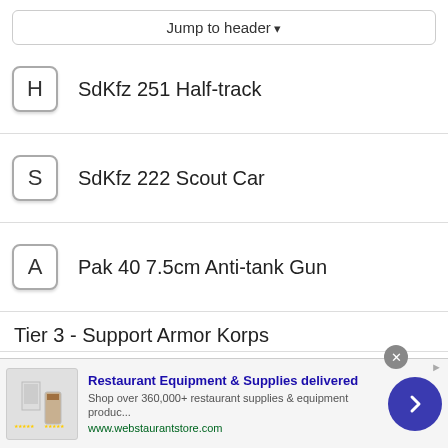Jump to header
H  SdKfz 251 Half-track
S  SdKfz 222 Scout Car
A  Pak 40 7.5cm Anti-tank Gun
Tier 3 - Support Armor Korps
S  StuG III Ausf. G Assault Gun
[Figure (screenshot): Advertisement banner for Restaurant Equipment & Supplies delivered. Shop over 360,000+ restaurant supplies & equipment produc... www.webstaurantstore.com]